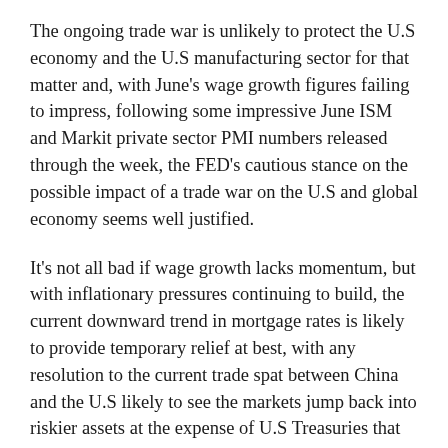The ongoing trade war is unlikely to protect the U.S economy and the U.S manufacturing sector for that matter and, with June's wage growth figures failing to impress, following some impressive June ISM and Markit private sector PMI numbers released through the week, the FED's cautious stance on the possible impact of a trade war on the U.S and global economy seems well justified.
It's not all bad if wage growth lacks momentum, but with inflationary pressures continuing to build, the current downward trend in mortgage rates is likely to provide temporary relief at best, with any resolution to the current trade spat between China and the U.S likely to see the markets jump back into riskier assets at the expense of U.S Treasuries that would see mortgage rates back up to year highs.
Freddie Mac weekly average rates for new